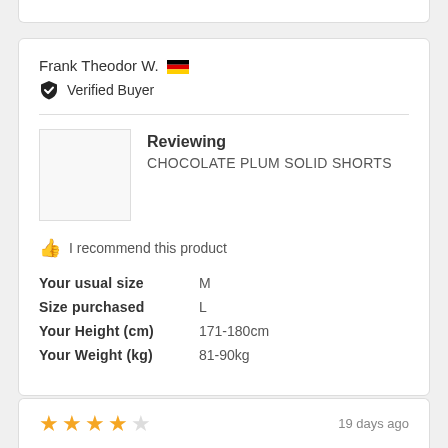Frank Theodor W. 🇩🇪
Verified Buyer
Reviewing
CHOCOLATE PLUM SOLID SHORTS
👍 I recommend this product
Your usual size   M
Size purchased   L
Your Height (cm)   171-180cm
Your Weight (kg)   81-90kg
★★★★☆   19 days ago